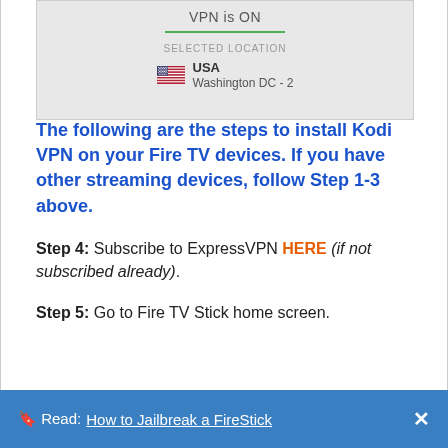[Figure (screenshot): VPN app screenshot showing 'VPN is ON' with a green underline bar, 'SELECTED LOCATION' label, US flag icon, and location text 'USA Washington DC - 2']
The following are the steps to install Kodi VPN on your Fire TV devices. If you have other streaming devices, follow Step 1-3 above.
Step 4: Subscribe to ExpressVPN HERE (if not subscribed already).
Step 5: Go to Fire TV Stick home screen.
🔖 Read: How to Jailbreak a FireStick